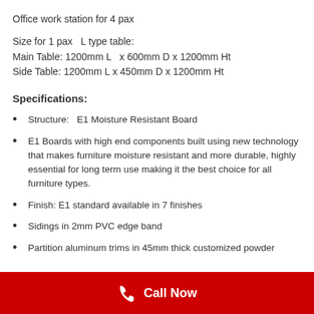Office work station for 4 pax
Size for 1 pax  L type table:
Main Table: 1200mm L  x 600mm D x 1200mm Ht
Side Table: 1200mm L x 450mm D x 1200mm Ht
Specifications:
Structure:  E1 Moisture Resistant Board
E1 Boards with high end components built using new technology that makes furniture moisture resistant and more durable, highly essential for long term use making it the best choice for all furniture types.
Finish: E1 standard available in 7 finishes
Sidings in 2mm PVC edge band
Partition aluminum trims in 45mm thick customized powder
Call Now